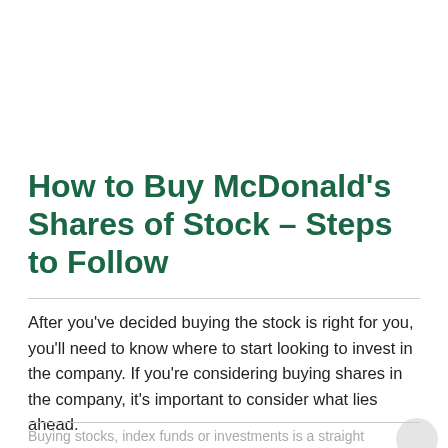How to Buy McDonald's Shares of Stock – Steps to Follow
After you've decided buying the stock is right for you, you'll need to know where to start looking to invest in the company. If you're considering buying shares in the company, it's important to consider what lies ahead.
Buying stocks, index funds or investments is a straightforward process.